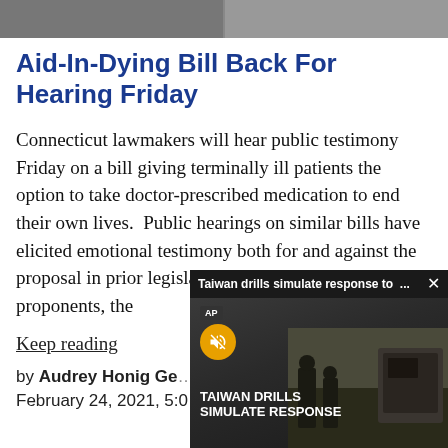[Figure (photo): Two image thumbnails side by side at the top of the page (partially cropped)]
Aid-In-Dying Bill Back For Hearing Friday
Connecticut lawmakers will hear public testimony Friday on a bill giving terminally ill patients the option to take doctor-prescribed medication to end their own lives.  Public hearings on similar bills have elicited emotional testimony both for and against the proposal in prior legislative sessions. Despite proponents, the
Keep reading
by Audrey Honig Ge…
February 24, 2021, 5:0…
[Figure (screenshot): Video popup overlay showing 'Taiwan drills simulate response to ...' with AP badge, mute button, and 'TAIWAN DRILLS SIMULATE RESPONSE' title over footage of soldiers]